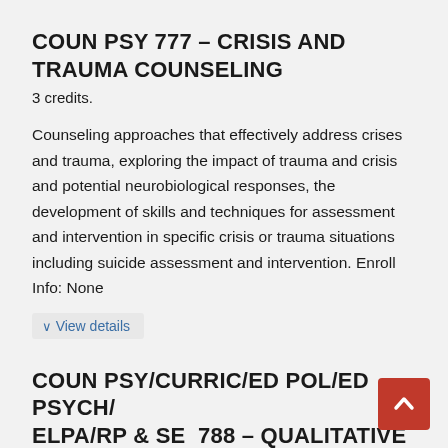COUN PSY 777 – CRISIS AND TRAUMA COUNSELING
3 credits.
Counseling approaches that effectively address crises and trauma, exploring the impact of trauma and crisis and potential neurobiological responses, the development of skills and techniques for assessment and intervention in specific crisis or trauma situations including suicide assessment and intervention. Enroll Info: None
∨ View details
COUN PSY/CURRIC/ED POL/ED PSYCH/ELPA/RP & SE 788 – QUALITATIVE RESEARCH METHODS IN EDUCATION: